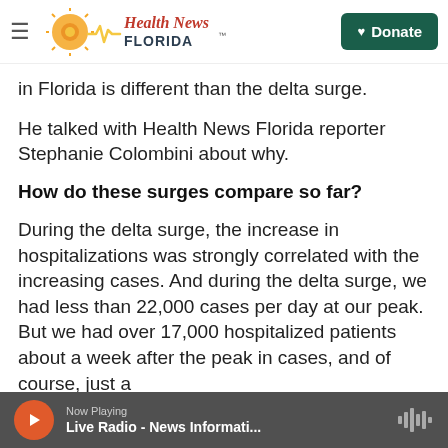Health News Florida — Donate
in Florida is different than the delta surge.
He talked with Health News Florida reporter Stephanie Colombini about why.
How do these surges compare so far?
During the delta surge, the increase in hospitalizations was strongly correlated with the increasing cases. And during the delta surge, we had less than 22,000 cases per day at our peak. But we had over 17,000 hospitalized patients about a week after the peak in cases, and of course, just a
Now Playing — Live Radio - News Informati...